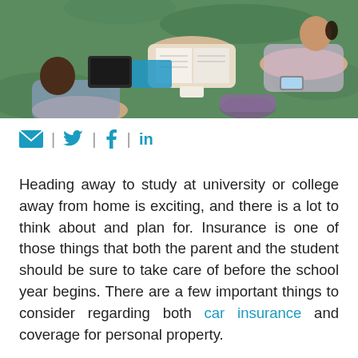[Figure (photo): Overhead view of students sitting on grass, studying with tablets, books, and phones]
[Figure (infographic): Social media share icons: email, Twitter, Facebook, LinkedIn in teal/blue color]
Heading away to study at university or college away from home is exciting, and there is a lot to think about and plan for. Insurance is one of those things that both the parent and the student should be sure to take care of before the school year begins. There are a few important things to consider regarding both car insurance and coverage for personal property.